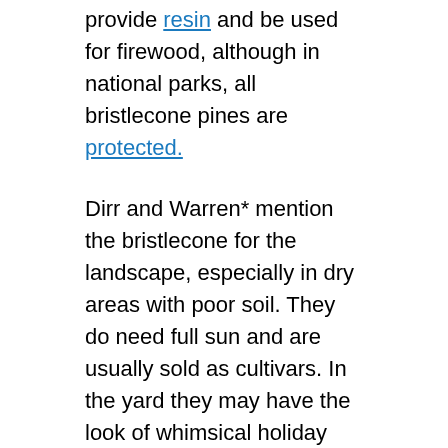provide resin and be used for firewood, although in national parks, all bristlecone pines are protected.
Dirr and Warren* mention the bristlecone for the landscape, especially in dry areas with poor soil. They do need full sun and are usually sold as cultivars. In the yard they may have the look of whimsical holiday trees. At higher altitudes they have the appearance of large pieces of misplaced driftwood.
Although Pinus aristata has evolved numerous survival mechanisms, and the ability to adapt to hardships may be part of the secret to its longevity, climate change may be playing a part in new dangers to these old trees. In the early 2000s, bristlecone pines were documented to have died from mountain pine beetle